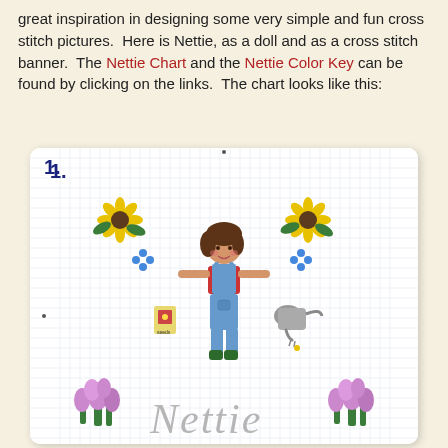great inspiration in designing some very simple and fun cross stitch pictures. Here is Nettie, as a doll and as a cross stitch banner. The Nettie Chart and the Nettie Color Key can be found by clicking on the links. The chart looks like this:
[Figure (illustration): A cross stitch pattern chart labeled '1.' showing a pixelated girl character named Nettie in blue overalls and red shirt, holding a seed packet and watering can, with sunflowers on either side, small blue flowers, and purple flower bouquets on either side of the word 'Nettie' written in cross stitch style at the bottom. The chart is displayed on a white card with a grid background.]